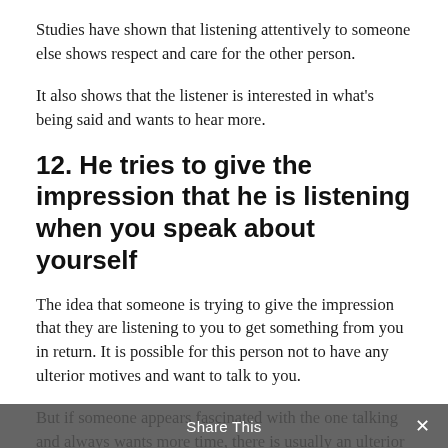Studies have shown that listening attentively to someone else shows respect and care for the other person.
It also shows that the listener is interested in what's being said and wants to hear more.
12. He tries to give the impression that he is listening when you speak about yourself
The idea that someone is trying to give the impression that they are listening to you to get something from you in return. It is possible for this person not to have any ulterior motives and want to talk to you.
But if someone appears fascinated with the one talking and always wants more time, there is usually an ulterior motive and if he is a man, then is he clearly falling for you.
Share This ×